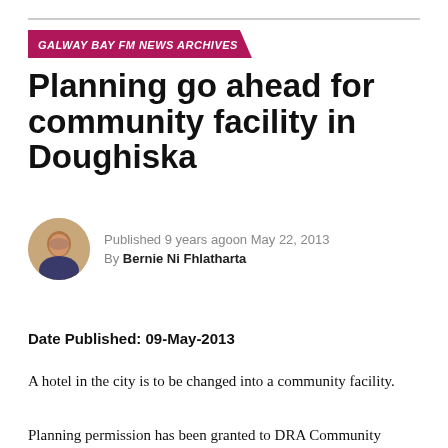GALWAY BAY FM NEWS ARCHIVES
Planning go ahead for community facility in Doughiska
Published 9 years agoon May 22, 2013
By Bernie Ni Fhlatharta
Date Published: 09-May-2013
A hotel in the city is to be changed into a community facility.
Planning permission has been granted to DRA Community Development Company Limited to redevelop